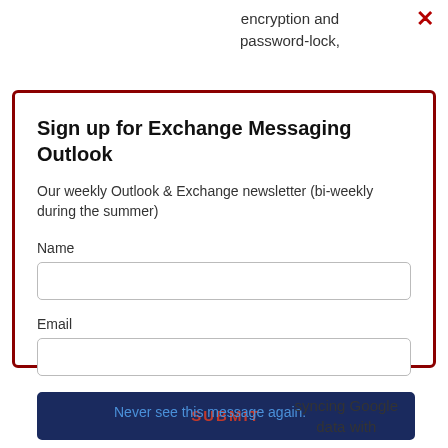encryption and password-lock,
✕
Sign up for Exchange Messaging Outlook
Our weekly Outlook & Exchange newsletter (bi-weekly during the summer)
Name
Email
SUBMIT
Please note: If you subscribed to Exchange Messaging Outlook before August 2019, please re-subscribe.
Never see this message again.
syncing Google data with